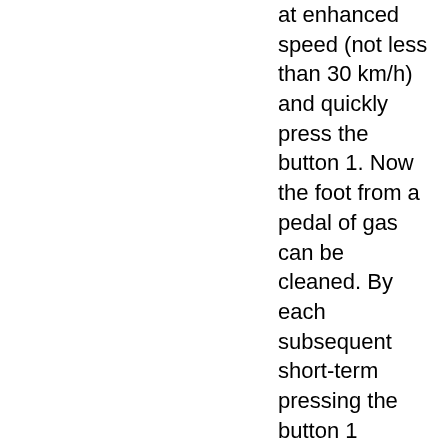at enhanced speed (not less than 30 km/h) and quickly press the button 1. Now the foot from a pedal of gas can be cleaned. By each subsequent short-term pressing the button 1 constant speed will increase by 1 km/h. If to hold the button 1 pressed, the car will be dispersed and when the button will be released, the current speed will be established as a constant.
On abrupt liftings/descents